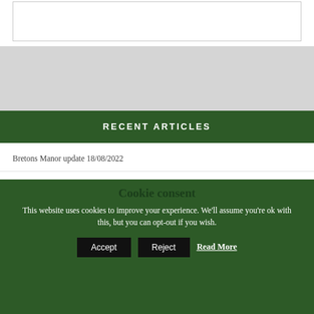[Figure (other): White box/image placeholder at top]
RECENT ARTICLES
Bretons Manor update 18/08/2022
Raising Funds for St Francis Hospice – 6 September 2022 18/08/2022
Langtons Gardens – Whats On 17/08/2022
Cookie consent
This website uses cookies to improve your experience. We'll assume you're ok with this, but you can opt-out if you wish.
Accept  Reject  Read More